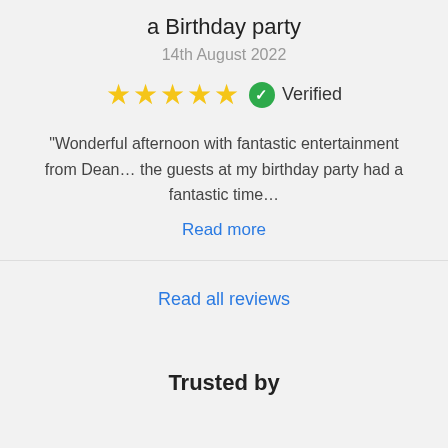a Birthday party
14th August 2022
[Figure (infographic): Five gold stars rating and a green verified badge with checkmark and the word Verified]
“Wonderful afternoon with fantastic entertainment from Dean… the guests at my birthday party had a fantastic time…
Read more
Read all reviews
Trusted by